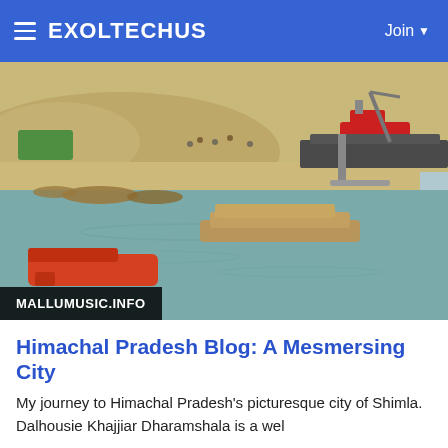EXOLTECHUS  Join
[Figure (photo): A river or reservoir scene with boats moored along a stony bank. In the foreground are orange/red boats, in the middle distance wooden flat boats, and in the background a red tugboat and barge near a dock. A watermark reads MALLUMUSIC.INFO.]
Himachal Pradesh Blog: A Mesmersing City
My journey to Himachal Pradesh's picturesque city of Shimla. Dalhousie Khajjiar Dharamshala is a wel
0 Comments